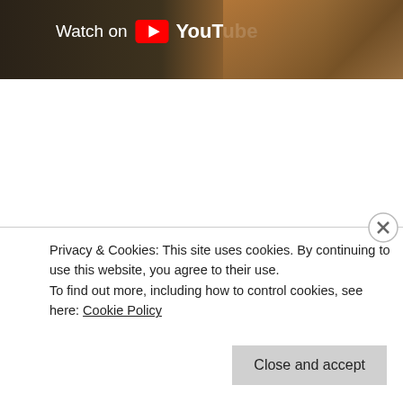[Figure (screenshot): YouTube video thumbnail with 'Watch on YouTube' button overlay. Dark brownish background with industrial/metal pipes visible on the right side.]
Illustrator – Artist – Mayumi Haryoto
Posted: 09/09/2012 | Author: seb.. | Filed under: Art, Illustration, visual art | Tags: art, design, illustration, illustrator, Mayumi Haryoto, visual art | Leave a comment
Privacy & Cookies: This site uses cookies. By continuing to use this website, you agree to their use.
To find out more, including how to control cookies, see here: Cookie Policy